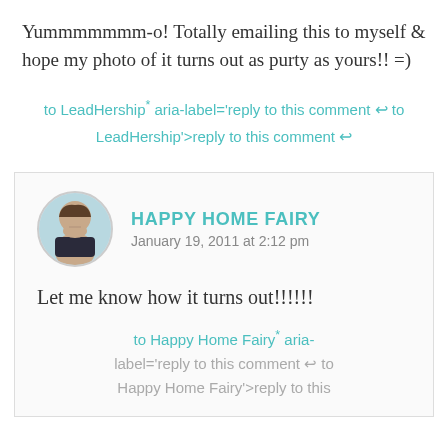Yummmmmmm-o! Totally emailing this to myself & hope my photo of it turns out as purty as yours!! =)
to LeadHership* aria-label='reply to this comment ↩ to LeadHership'>reply to this comment ↩
HAPPY HOME FAIRY
January 19, 2011 at 2:12 pm
Let me know how it turns out!!!!!!
to Happy Home Fairy* aria-label='reply to this comment ↩ to Happy Home Fairy'>reply to this